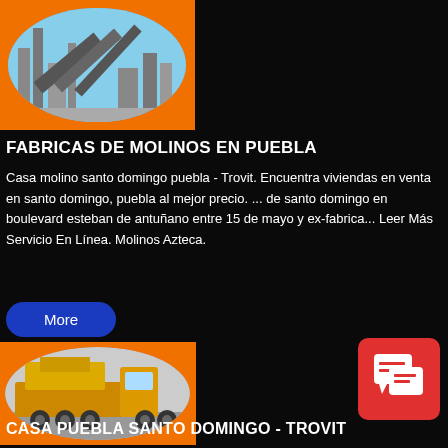[Figure (photo): Industrial plant/factory equipment on orange background in circular crop]
FABRICAS DE MOLINOS EN PUEBLA
Casa molino santo domingo puebla - Trovit. Encuentra viviendas en venta en santo domingo, puebla al mejor precio. ... de santo domingo en boulevard esteban de antuñano entre 15 de mayo y ex-fabrica... Leer Más Servicio En Línea. Molinos Azteca.
[Figure (photo): Heavy transport vehicle/machinery on orange background in circular crop]
CASA PUEBLA SANTO DOMINGO - TROVIT
[Figure (illustration): Red icon badge with speech bubble / document icons]